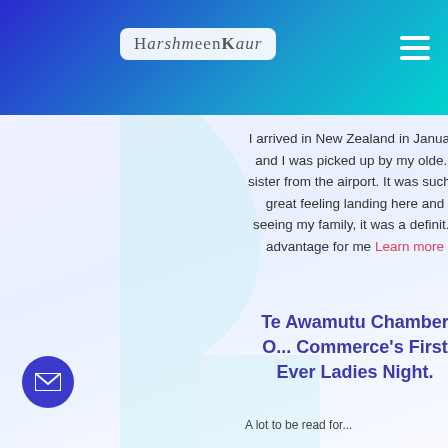HarshmeenKaur
I arrived in New Zealand in January and I was picked up by my older sister from the airport. It was such a great feeling landing here and seeing my family, it was a definite advantage for me Learn more
Te Awamutu Chamber Of Commerce's First Ever Ladies Night.
A lot to be read for...